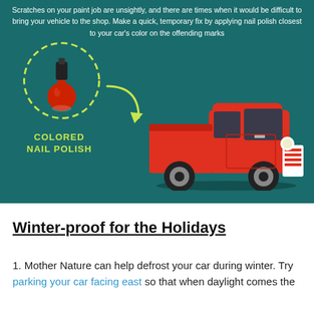[Figure (infographic): Infographic on dark teal background showing a nail polish bottle inside a dashed yellow-green circle with an arrow pointing to a red vintage pickup truck. Text reads 'COLORED NAIL POLISH' in yellow-green. Top text describes using nail polish to fix car scratches.]
Scratches on your paint job are unsightly, and there are times when it would be difficult to bring your vehicle to the shop. Make a quick, temporary fix by applying nail polish closest to your car's color on the offending marks
Winter-proof for the Holidays
1. Mother Nature can help defrost your car during winter. Try parking your car facing east so that when daylight comes the